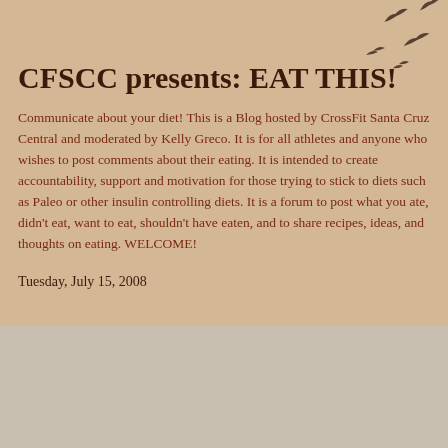[Figure (illustration): Decorative silhouettes of birds flying in the upper right corner of the page header area]
CFSCC presents: EAT THIS!
Communicate about your diet! This is a Blog hosted by CrossFit Santa Cruz Central and moderated by Kelly Greco. It is for all athletes and anyone who wishes to post comments about their eating. It is intended to create accountability, support and motivation for those trying to stick to diets such as Paleo or other insulin controlling diets. It is a forum to post what you ate, didn't eat, want to eat, shouldn't have eaten, and to share recipes, ideas, and thoughts on eating. WELCOME!
Tuesday, July 15, 2008
Yummy Halibut
[Figure (photo): Small white/light gray image placeholder for a halibut photo]
Annie Sakamoto sent this halibut recipe and photo to me...it